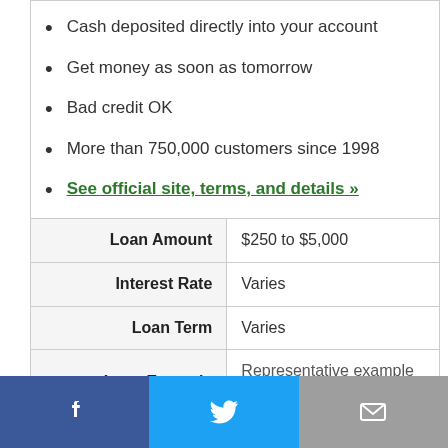Cash deposited directly into your account
Get money as soon as tomorrow
Bad credit OK
More than 750,000 customers since 1998
See official site, terms, and details »
|  |  |
| --- | --- |
| Loan Amount | $250 to $5,000 |
| Interest Rate | Varies |
| Loan Term | Varies |
| Loan Example | Representative example ⓘ |
| Our Expert Review | 4.6/5.0 (see review) |
[Figure (infographic): Social sharing bar with Facebook, Twitter, and email icons]